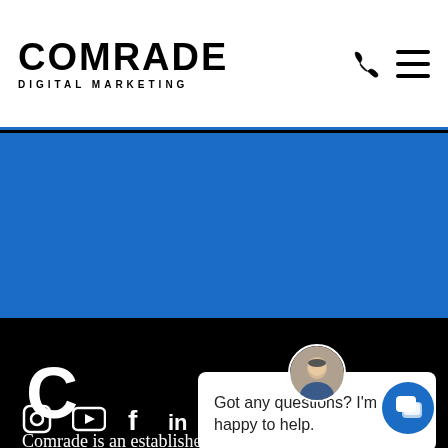COMRADE DIGITAL MARKETING
[Figure (illustration): Blue hero banner band]
[Figure (logo): Large C letter logo mark in white on black background]
Comrade is an established digital marketing agency and Austin with the miss clients.
[Figure (infographic): Social media icons row: Instagram, YouTube, Facebook, LinkedIn, Yelp]
[Figure (screenshot): Chat popup overlay with avatar photo and message: Got any questions? I'm happy to help.]
[Figure (illustration): Blue circular chat FAB button at bottom right]